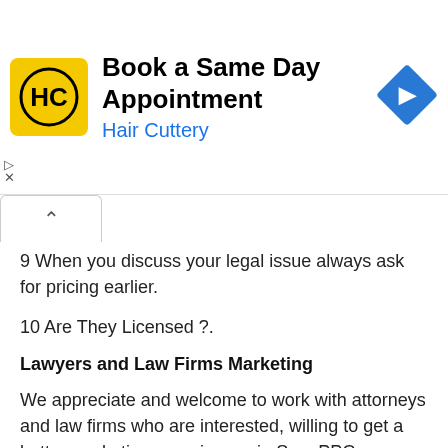[Figure (other): Hair Cuttery advertisement banner: yellow square logo with HC letters, title 'Book a Same Day Appointment', subtitle 'Hair Cuttery' in blue, blue diamond arrow icon on right]
9 When you discuss your legal issue always ask for pricing earlier.
10 Are They Licensed ?.
Lawyers and Law Firms Marketing
We appreciate and welcome to work with attorneys and law firms who are interested, willing to get a better marketing experience via Seo, PPC Advertisement, Featured Profile, Online Porfolio or Website and etc. You can request a free quote from our Law Firm Marketing Specialists.